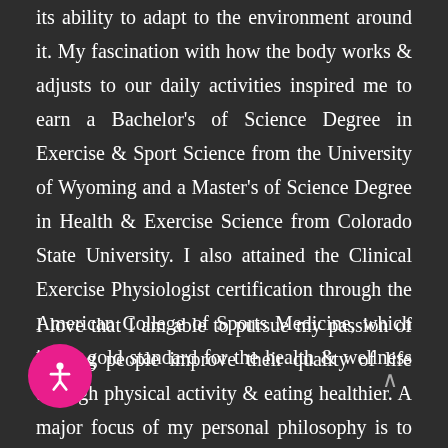its ability to adapt to the environment around it. My fascination with how the body works & adjusts to our daily activities inspired me to earn a Bachelor's of Science Degree in Exercise & Sport Science from the University of Wyoming and a Master's of Science Degree in Health & Exercise Science from Colorado State University. I also attained the Clinical Exercise Physiologist certification through the American College of Sports Medicine, which is the gold standard for the health & wellness field.
I love that I am able to pursue my passion of helping people improve their quality of life through physical activity & eating healthier. A major focus of my personal philosophy is to instruct each person with whom I work